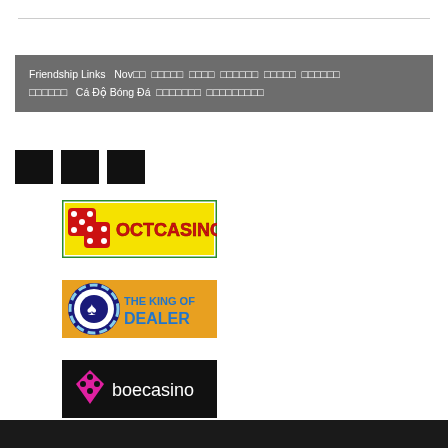Friendship Links   Nov□□ □□□□□ □□□□ □□□□□□ □□□□□ □□□□□□ □□□□□□  Cá Độ Bóng Đá  □□□□□□□ □□□□□□□□□
□□  □□  □□
[Figure (logo): OCTCASINO logo with red dice on yellow/white background with green border]
[Figure (logo): THE KING OF DEALER logo with poker chip icon on gold background]
[Figure (logo): boecasino logo with pink diamond icon on black background]